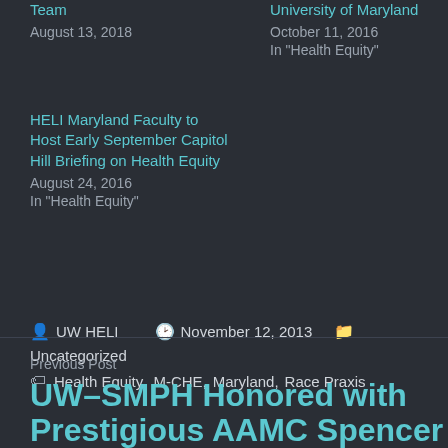Team
August 13, 2018
University of Maryland
October 11, 2016
In "Health Equity"
HELI Maryland Faculty to Host Early September Capitol Hill Briefing on Health Equity
August 24, 2016
In "Health Equity"
Post author: UW HELI  Date: November 12, 2013  Category: Uncategorized  Tags: Health Equity, M-CHE, Maryland, Race Praxis
Previous Post
UW-SMPH Honored with Prestigious AAMC Spencer...